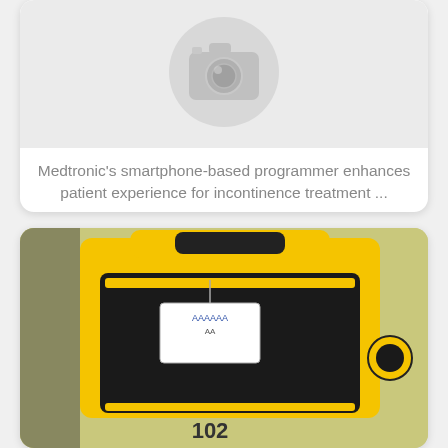[Figure (illustration): Placeholder image with a camera icon on a light gray circular background, indicating a missing or unavailable photo.]
Medtronic's smartphone-based programmer enhances patient experience for incontinence treatment ...
[Figure (photo): Photo of a yellow and black portable medical or industrial device with a white tag label showing partially visible number '102', against a yellow-green wall background.]